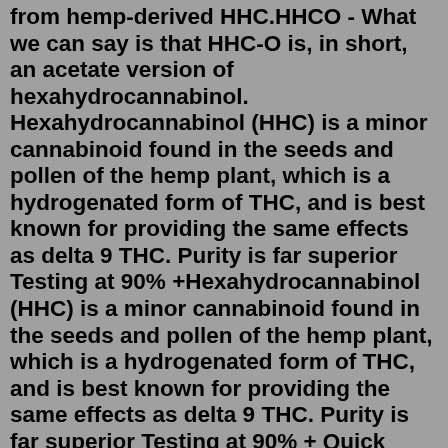from hemp-derived HHC.HHCO - What we can say is that HHC-O is, in short, an acetate version of hexahydrocannabinol. Hexahydrocannabinol (HHC) is a minor cannabinoid found in the seeds and pollen of the hemp plant, which is a hydrogenated form of THC, and is best known for providing the same effects as delta 9 THC. Purity is far superior Testing at 90% +Hexahydrocannabinol (HHC) is a minor cannabinoid found in the seeds and pollen of the hemp plant, which is a hydrogenated form of THC, and is best known for providing the same effects as delta 9 THC. Purity is far superior Testing at 90% + Quick Shipping Times Quality Guarenteed Amber Apperance Login to view our Wholesale Pricing. Please Note: Retail Promotions Not Valid For Wholesale Accounts. Main Menu. 0 . For Support Call 1-862-246-9929. FREE SHIPPING ON ALL ORDERS $50+ Wholesale; Reviews; Giveaways; Looper HHC-O Cartridges. Categories. Delta-8. DELTA-8 PRE-ROLLS DELTA-8 GUMMIES DELTA-8 CARTRIDGES DELTA-8 DISPOSABLES